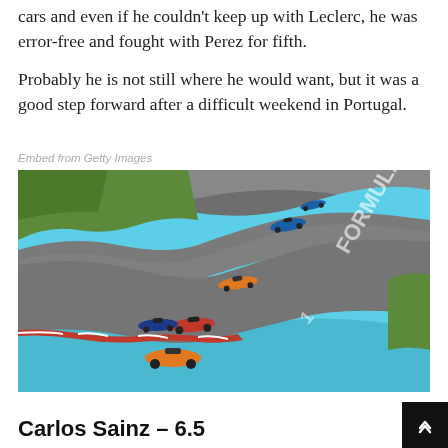cars and even if he couldn't keep up with Leclerc, he was error-free and fought with Perez for fifth.
Probably he is not still where he would want, but it was a good step forward after a difficult weekend in Portugal.
Embed from Getty Images
[Figure (photo): F1 cars racing on a circuit with a wide blue-painted run-off area and red-white kerbs, multiple cars visible including an orange McLaren leading the group]
Carlos Sainz – 6.5